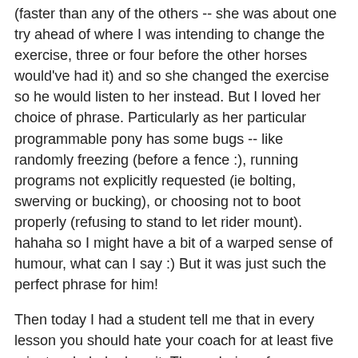(faster than any of the others -- she was about one try ahead of where I was intending to change the exercise, three or four before the other horses would've had it) and so she changed the exercise so he would listen to her instead. But I loved her choice of phrase. Particularly as her particular programmable pony has some bugs -- like randomly freezing (before a fence :), running programs not explicitly requested (ie bolting, swerving or bucking), or choosing not to boot properly (refusing to stand to let rider mount). hahaha so I might have a bit of a warped sense of humour, what can I say :) But it was just such the perfect phrase for him!
Then today I had a student tell me that in every lesson you should hate your coach for at least five minutes. hahaha love it. Theory being of course that said coach is making you work hard *g* My theory is it's all good so long as you're not hating them at the end of the class! (next day is fair game though :)
Sienna today was such a star. I swear she *wanted* to be ridden. I took her out of her stall and groomed her, and then put her back to go teach. Was she ever mad. Standing with